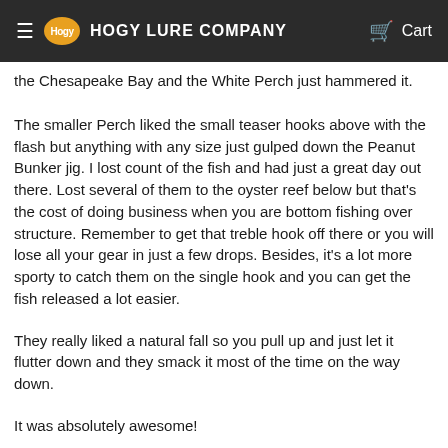HOGY LURE COMPANY | Cart
the Chesapeake Bay and the White Perch just hammered it.
The smaller Perch liked the small teaser hooks above with the flash but anything with any size just gulped down the Peanut Bunker jig. I lost count of the fish and had just a great day out there. Lost several of them to the oyster reef below but that's the cost of doing business when you are bottom fishing over structure. Remember to get that treble hook off there or you will lose all your gear in just a few drops. Besides, it's a lot more sporty to catch them on the single hook and you can get the fish released a lot easier.
They really liked a natural fall so you pull up and just let it flutter down and they smack it most of the time on the way down.
It was absolutely awesome!
That's all for now. See you out on the water!